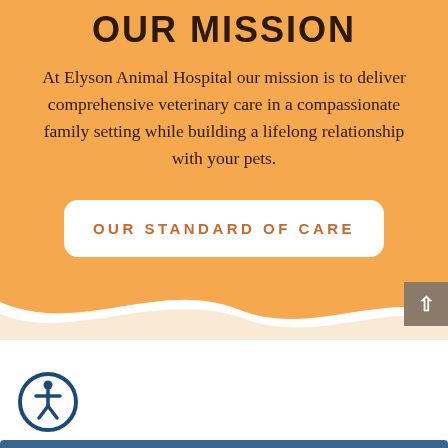OUR MISSION
At Elyson Animal Hospital our mission is to deliver comprehensive veterinary care in a compassionate family setting while building a lifelong relationship with your pets.
OUR STANDARD OF CARE
[Figure (other): Accessibility icon — a person in a circle outline with dark blue border]